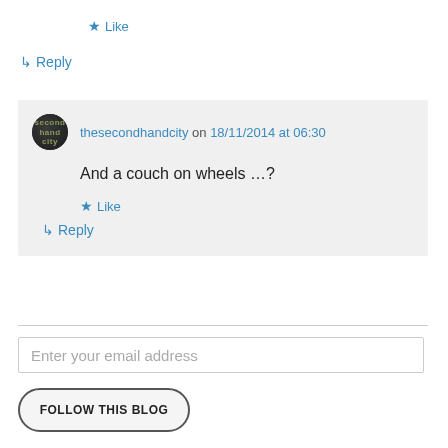★ Like
↳ Reply
thesecondhandcity on 18/11/2014 at 06:30
And a couch on wheels …?
★ Like
↳ Reply
Enter your email address
FOLLOW THIS BLOG